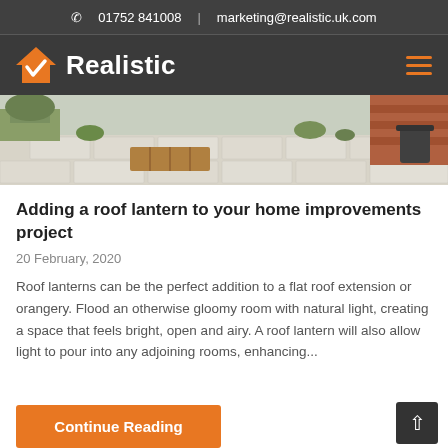01752 841008  |  marketing@realistic.uk.com
[Figure (logo): Realistic logo: orange house with checkmark icon and white bold text 'Realistic' on dark grey background]
[Figure (photo): Outdoor patio/garden scene with paving stones, plants and construction materials]
Adding a roof lantern to your home improvements project
20 February, 2020
Roof lanterns can be the perfect addition to a flat roof extension or orangery. Flood an otherwise gloomy room with natural light, creating a space that feels bright, open and airy. A roof lantern will also allow light to pour into any adjoining rooms, enhancing...
Continue Reading